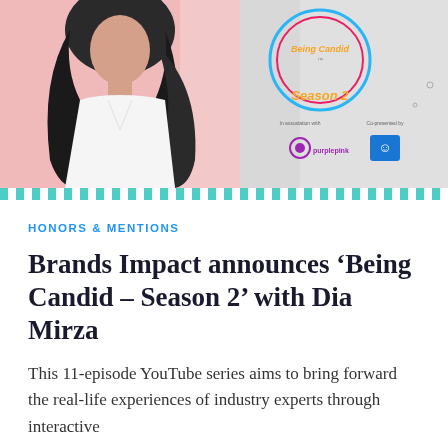[Figure (photo): Promotional image for 'Being Candid Season 2' featuring a woman with long dark hair in a white outfit against a pink/grey background, with colorful circular logo text reading 'Being Candid Season 2' and sponsor logos including Purplepink. A diagonal striped bar runs along the bottom of the image.]
HONORS & MENTIONS
Brands Impact announces ‘Being Candid – Season 2’ with Dia Mirza
This 11-episode YouTube series aims to bring forward the real-life experiences of industry experts through interactive